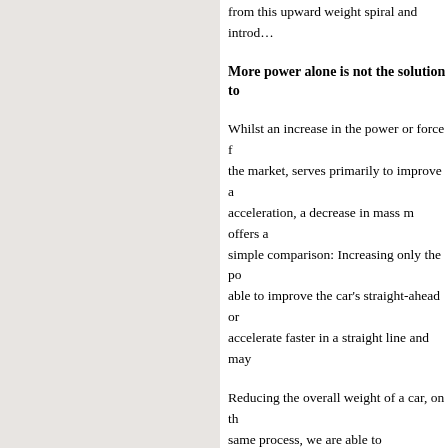from this upward weight spiral and introd…
More power alone is not the solution to…
Whilst an increase in the power or force f… the market, serves primarily to improve a… acceleration, a decrease in mass m offers a… simple comparison: Increasing only the po… able to improve the car's straight-ahead or… accelerate faster in a straight line and may…
Reducing the overall weight of a car, on th… same process, we are able to significantly… and negative longitudinal dynamics. On th… but is also able to achieve a far higher spe… driver applies the brakes. Precisely this is… new M3 CSL, creating the foundation for…
Nurburgring and motorsport - two of th…
The Northern Circuit of Nurburgring, pro… world, plays a very special role in achievi… 20.8-kilometre circuit through the Eifel M… developing and consistently enhancing the… "home" of the M3 CSL, all criteria in driv… stand out clearly from the mediocre and…